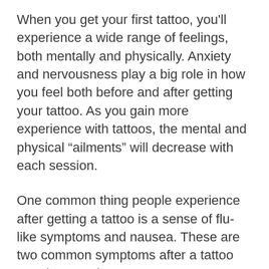When you get your first tattoo, you'll experience a wide range of feelings, both mentally and physically. Anxiety and nervousness play a big role in how you feel both before and after getting your tattoo. As you gain more experience with tattoos, the mental and physical ”ailments” will decrease with each session.
One common thing people experience after getting a tattoo is a sense of flu-like symptoms and nausea. These are two common symptoms after a tattoo appointment, but you may not necessarily experience them.
However, if you’re having similar symptoms, don’t panic. This is just your body’s immune